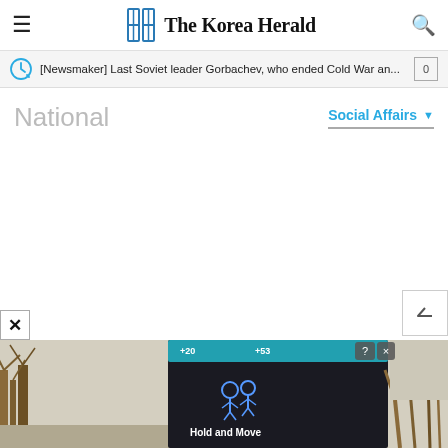The Korea Herald
[Newsmaker] Last Soviet leader Gorbachev, who ended Cold War an...
National
Social Affairs
[Figure (photo): Bottom strip showing a partial outdoor/nature scene with trees and a dark overlay advertisement panel for a mobile game 'Hold and Move' with question mark and close button icons]
Hold and Move